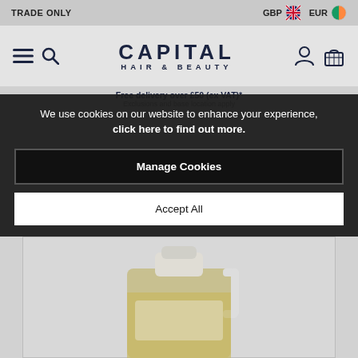TRADE ONLY | GBP | EUR
[Figure (logo): Capital Hair & Beauty logo with hamburger menu, search, account and basket icons]
Free delivery over £50 (ex VAT)*
We use cookies on our website to enhance your experience, click here to find out more.
Manage Cookies
Accept All
[Figure (photo): Large plastic gallon jug of golden/yellow liquid hair or beauty product]